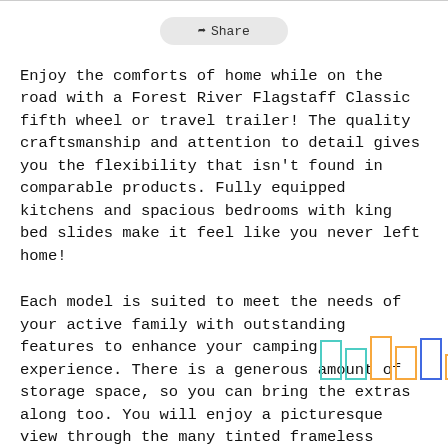Share
Enjoy the comforts of home while on the road with a Forest River Flagstaff Classic fifth wheel or travel trailer! The quality craftsmanship and attention to detail gives you the flexibility that isn't found in comparable products. Fully equipped kitchens and spacious bedrooms with king bed slides make it feel like you never left home!
Each model is suited to meet the needs of your active family with outstanding features to enhance your camping experience. There is a generous amount of storage space, so you can bring the extras along too. You will enjoy a picturesque view through the many tinted frameless windows, and the shielded power awning comes with an LED light strip to highlight the good times at night!